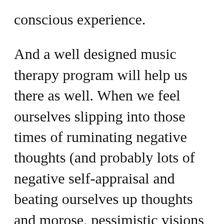conscious experience.
And a well designed music therapy program will help us there as well. When we feel ourselves slipping into those times of ruminating negative thoughts (and probably lots of negative self-appraisal and beating ourselves up thoughts and morose, pessimistic visions and ideas of ourselves and the future) if we instead switch to certain kinds